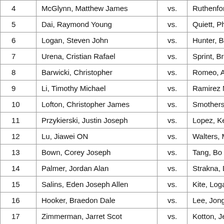| # | Name | vs. | Opponent |
| --- | --- | --- | --- |
| 4 | McGlynn, Matthew James | vs. | Ruthenfo... |
| 5 | Dai, Raymond Young | vs. | Quiett, Ph... |
| 6 | Logan, Steven John | vs. | Hunter, B... |
| 7 | Urena, Cristian Rafael | vs. | Sprint, Br... |
| 8 | Barwicki, Christopher | vs. | Romeo, A... |
| 9 | Li, Timothy Michael | vs. | Ramirez M... |
| 10 | Lofton, Christopher James | vs. | Smothers... |
| 11 | Przykierski, Justin Joseph | vs. | Lopez, Ke... |
| 12 | Lu, Jiawei ON | vs. | Walters, M... |
| 13 | Bown, Corey Joseph | vs. | Tang, Bo... |
| 14 | Palmer, Jordan Alan | vs. | Strakna, D... |
| 15 | Salins, Eden Joseph Allen | vs. | Kite, Loga... |
| 16 | Hooker, Braedon Dale | vs. | Lee, Jong... |
| 17 | Zimmerman, Jarret Scot | vs. | Kotton, Je... |
| 18 | Levine, Ryan Arthur | vs. | Nichols, J... |
| 19 | Lopez Marquez, Manuel Alejandro CA | vs. | Cambural... |
| 20 | Vargas, Gabriel Antonio | vs. | Fricker, D... |
| 21 | Dawar, Manav | vs. | Parr, Nath... |
| 22 | Wix-Peeler, Carter Rodney | vs. | Serrano, A... |